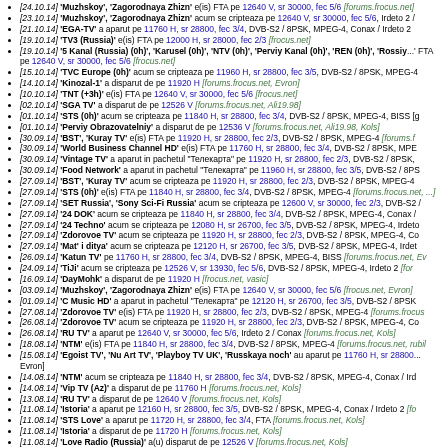[24.10.14] 'Muzhskoy', 'Zagorodnaya Zhizn' e(is) FTA pe 12640 V, sr 30000, fec 5/6 [forums.frocus.net]
[23.10.14] 'Muzhskoy', 'Zagorodnaya Zhizn' acum se cripteaza pe 12640 V, sr 30000, fec 5/6, Irdeto 2 / ...
[21.10.14] 'EGA-TV' a aparut pe 11760 H, sr 28800, fec 3/4, DVB-S2 / 8PSK, MPEG-4, Conax / Irdeto 2 ...
[19.10.14] 'TV3 (Russia)' e(is) FTA pe 12000 H, sr 28000, fec 2/3 [frocus.net]
[19.10.14] '5 Kanal (Russia) (0h)', 'Karusel (0h)', 'NTV (0h)', 'Perviy Kanal (0h)', 'REN (0h)', 'Rossiy...' FTA pe 12640 V, sr 30000, fec 5/6 [frocus.net]
[15.10.14] 'TVC Europe (0h)' acum se cripteaza pe 11960 H, sr 28800, fec 3/5, DVB-S2 / 8PSK, MPEG-4...
[14.10.14] 'Kinozal-1' a disparut de pe 11920 H [forums.frocus.net, Evron]
[10.10.14] 'TNT (+3h)' e(is) FTA pe 12640 V, sr 30000, fec 5/6 [frocus.net]
[02.10.14] 'SGA TV' a disparut de pe 12526 V [forums.frocus.net, Ali19.98]
[01.10.14] 'STS (0h)' acum se cripteaza pe 11840 H, sr 28800, fec 3/4, DVB-S2 / 8PSK, MPEG-4, BISS [g...
[01.10.14] 'Perviy Obrazovatelniy' a disparut de pe 12536 V [forums.frocus.net, Ali19.98, Kols]
[30.09.14] 'BST', 'Kuray TV' e(is) FTA pe 11920 H, sr 28800, fec 2/3, DVB-S2 / 8PSK, MPEG-4 [forums.f...
[30.09.14] 'World Business Channel HD' e(is) FTA pe 11760 H, sr 28800, fec 3/4, DVB-S2 / 8PSK, MPE...
[30.09.14] 'Vintage TV' a aparut in pachetul "Телекарта" pe 11920 H, sr 28800, fec 2/3, DVB-S2 / 8PSK,...
[30.09.14] 'Food Network' a aparut in pachetul "Телекарта" pe 11960 H, sr 28800, fec 3/5, DVB-S2 / 8PS...
[27.09.14] 'BST', 'Kuray TV' acum se cripteaza pe 11920 H, sr 28800, fec 2/3, DVB-S2 / 8PSK, MPEG-4...
[27.09.14] 'STS (0h)' e(is) FTA pe 11840 H, sr 28800, fec 3/4, DVB-S2 / 8PSK, MPEG-4 [forums.frocus.net, ...]
[27.09.14] 'SET Russia', 'Sony Sci-Fi Russia' acum se cripteaza pe 12600 V, sr 30000, fec 2/3, DVB-S2 /...
[27.09.14] '24 DOK' acum se cripteaza pe 11840 H, sr 28800, fec 3/4, DVB-S2 / 8PSK, MPEG-4, Conax /...
[27.09.14] '24 Techno' acum se cripteaza pe 12080 H, sr 26700, fec 3/5, DVB-S2 / 8PSK, MPEG-4, Irdeto...
[27.09.14] 'Zdorovoe TV' acum se cripteaza pe 11920 H, sr 28800, fec 2/3, DVB-S2 / 8PSK, MPEG-4, Co...
[27.09.14] 'Mat' i ditya' acum se cripteaza pe 12120 H, sr 26700, fec 3/5, DVB-S2 / 8PSK, MPEG-4, Irdet...
[26.09.14] 'Katun TV' pe 11760 H, sr 28800, fec 3/4, DVB-S2 / 8PSK, MPEG-4, BISS [forums.frocus.net, Ev...]
[24.09.14] 'TiJi' acum se cripteaza pe 12526 V, sr 13930, fec 5/6, DVB-S2 / 8PSK, MPEG-4, Irdeto 2 [for...
[16.09.14] 'DayMohk' a disparut de pe 11920 H [frocus.net, vasic]
[03.09.14] 'Muzhskoy', 'Zagorodnaya Zhizn' e(is) FTA pe 12640 V, sr 30000, fec 5/6 [frocus.net, Evron]
[01.09.14] 'C Music HD' a aparut in pachetul "Телекарта" pe 12120 H, sr 26700, fec 3/5, DVB-S2 / 8PSK...
[27.08.14] 'Zdorovoe TV' e(is) FTA pe 11920 H, sr 28800, fec 2/3, DVB-S2 / 8PSK, MPEG-4 [forums.frocus...]
[26.08.14] 'Zdorovoe TV' acum se cripteaza pe 11920 H, sr 28800, fec 2/3, DVB-S2 / 8PSK, MPEG-4, Co...
[26.08.14] 'RU TV' a aparut pe 12640 V, sr 30000, fec 5/6, Irdeto 2 / Conax [forums.frocus.net, Kols]
[18.08.14] 'NTM' e(is) FTA pe 11840 H, sr 28800, fec 3/4, DVB-S2 / 8PSK, MPEG-4 [forums.frocus.net, rubil...]
[15.08.14] 'Egoist TV', 'Nu Art TV', 'Playboy TV UK', 'Russkaya noch' au aparut pe 11760 H, sr 28800... Evron]
[14.08.14] 'NTM' acum se cripteaza pe 11840 H, sr 28800, fec 3/4, DVB-S2 / 8PSK, MPEG-4, Conax / Ird...
[14.08.14] 'Vip TV (Az)' a disparut de pe 11760 H [forums.frocus.net, Kols]
[13.08.14] 'RU TV' a disparut de pe 12640 V [forums.frocus.net, Kols]
[11.08.14] 'Istoria' a aparut pe 12160 H, sr 28800, fec 3/5, DVB-S2 / 8PSK, MPEG-4, Conax / Irdeto 2 [fo...
[11.08.14] 'STS Love' a aparut pe 11720 H, sr 28800, fec 3/4, FTA [forums.frocus.net, Kols]
[11.08.14] 'Istoria' a disparut de pe 11720 H [forums.frocus.net, Kols]
[11.08.14] 'Love Radio (Russia)' a(u) disparut de pe 12526 V [forums.frocus.net, Kols]
[04.08.14] '24 DOK' e(is) FTA pe 11840 H, sr 28800, fec 3/4, DVB-S2 / 8PSK, MPEG-4 ...